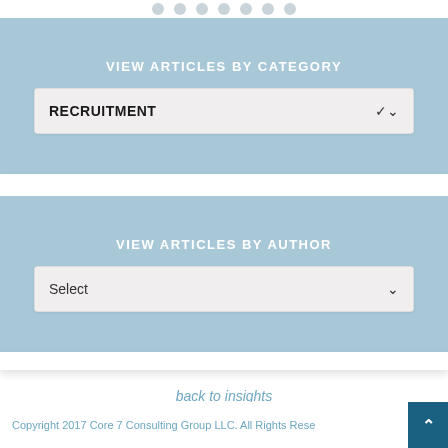[Figure (screenshot): Navigation dots row at top of page]
VIEW ARTICLES BY CATEGORY
[Figure (screenshot): Dropdown select box showing RECRUITMENT with chevron]
VIEW ARTICLES BY AUTHOR
[Figure (screenshot): Dropdown select box showing Select with chevron]
back to insights
Copyright 2017 Core 7 Consulting Group LLC. All Rights Rese...